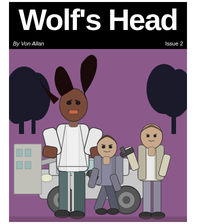Wolf's Head
By Von Allan   Issue 2
[Figure (illustration): Comic book cover illustration showing a woman with flowing dark hair in a fighting stance with fists raised, wearing a white jacket and dark pants. Behind her are two men holding guns, crouching near a white car. The background is a purple/mauve sky with dark silhouetted trees. The overall style is black-and-white line art with purple and grey tones.]